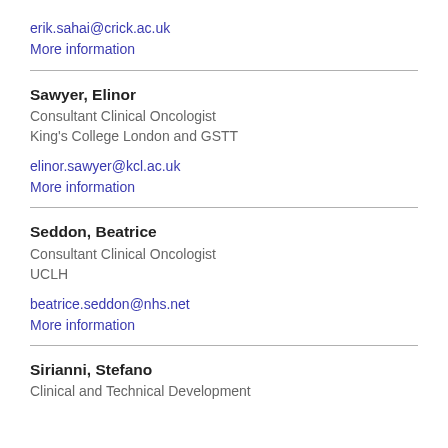erik.sahai@crick.ac.uk
More information
Sawyer, Elinor
Consultant Clinical Oncologist
King's College London and GSTT
elinor.sawyer@kcl.ac.uk
More information
Seddon, Beatrice
Consultant Clinical Oncologist
UCLH
beatrice.seddon@nhs.net
More information
Sirianni, Stefano
Clinical and Technical Development